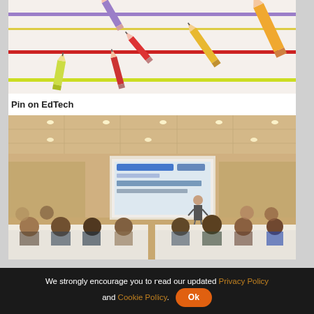[Figure (illustration): Colorful cartoon pencils on striped lines background (purple, red, yellow-green horizontal lines), various pencils scattered diagonally]
Pin on EdTech
[Figure (photo): Conference room with attendees seated at tables facing a presenter standing in front of a projector screen showing a slide presentation]
We strongly encourage you to read our updated Privacy Policy and Cookie Policy. Ok